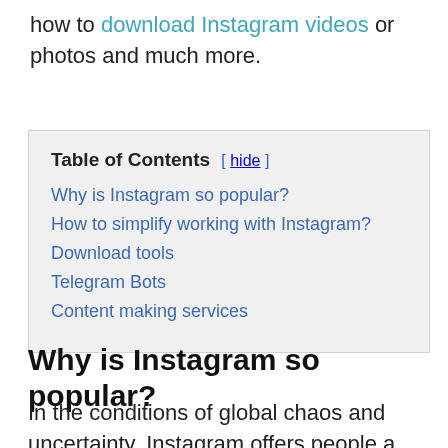how to download Instagram videos or photos and much more.
| Table of Contents |
| --- |
| Why is Instagram so popular? |
| How to simplify working with Instagram? |
| Download tools |
| Telegram Bots |
| Content making services |
Why is Instagram so popular?
In the conditions of global chaos and uncertainty, Instagram offers people a